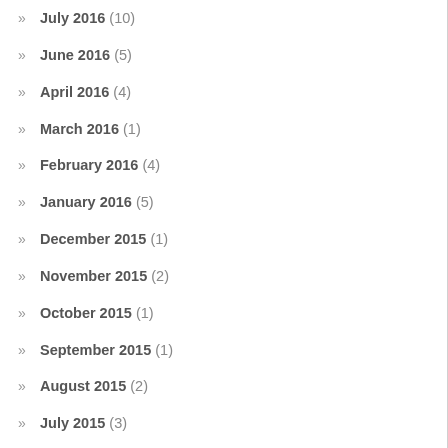July 2016 (10)
June 2016 (5)
April 2016 (4)
March 2016 (1)
February 2016 (4)
January 2016 (5)
December 2015 (1)
November 2015 (2)
October 2015 (1)
September 2015 (1)
August 2015 (2)
July 2015 (3)
June 2015 (5)
May 2015 (4)